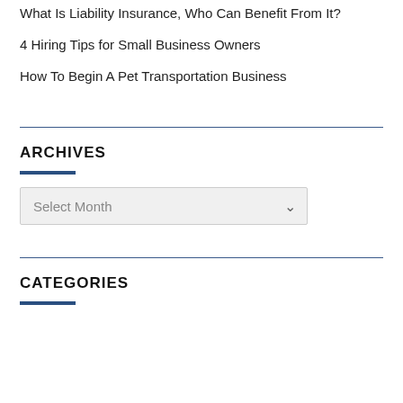What Is Liability Insurance, Who Can Benefit From It?
4 Hiring Tips for Small Business Owners
How To Begin A Pet Transportation Business
ARCHIVES
Select Month
CATEGORIES